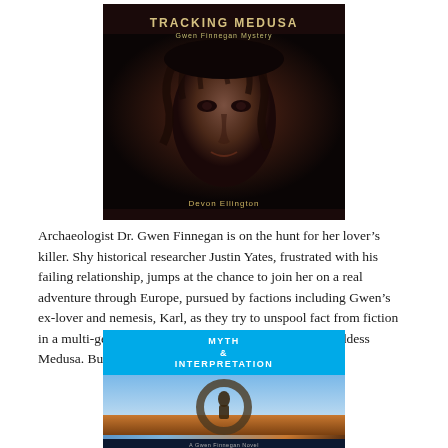[Figure (illustration): Book cover for 'Tracking Medusa' by Devon Ellington. Dark cover featuring a close-up of a woman's face with dark features and dramatic lighting, with text 'Gwen Finnegan Mystery' as subtitle.]
Archaeologist Dr. Gwen Finnegan is on the hunt for her lover’s killer. Shy historical researcher Justin Yates, frustrated with his failing relationship, jumps at the chance to join her on a real adventure through Europe, pursued by factions including Gwen’s ex-lover and nemesis, Karl, as they try to unspool fact from fiction in a multi-generational obsession with a statue of the goddess Medusa. Buy links here.
[Figure (illustration): Book cover for 'Myth & Interpretation' by Devon Ellington. Blue top banner with title text, image showing a stone sculpture or figure within a circular frame against a sky background. Bottom has series text and author name.]